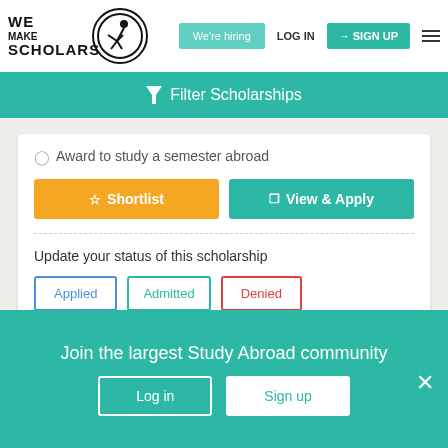[Figure (logo): We Make Scholars logo with stick figure in circle]
We're hiring
LOG IN
SIGN UP
Filter Scholarships
Award to study a semester abroad
Shortlist
View & Apply
Update your status of this scholarship
Applied
Admitted
Denied
Join the largest Study Abroad community
Log in
Sign up